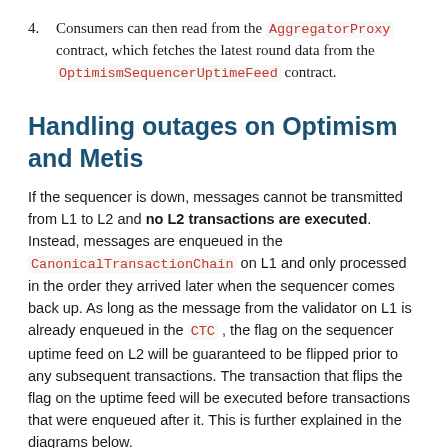4. Consumers can then read from the AggregatorProxy contract, which fetches the latest round data from the OptimismSequencerUptimeFeed contract.
Handling outages on Optimism and Metis
If the sequencer is down, messages cannot be transmitted from L1 to L2 and no L2 transactions are executed. Instead, messages are enqueued in the CanonicalTransactionChain on L1 and only processed in the order they arrived later when the sequencer comes back up. As long as the message from the validator on L1 is already enqueued in the CTC , the flag on the sequencer uptime feed on L2 will be guaranteed to be flipped prior to any subsequent transactions. The transaction that flips the flag on the uptime feed will be executed before transactions that were enqueued after it. This is further explained in the diagrams below.